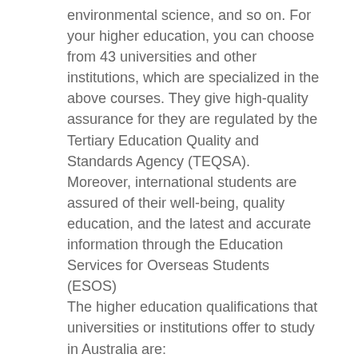environmental science, and so on. For your higher education, you can choose from 43 universities and other institutions, which are specialized in the above courses. They give high-quality assurance for they are regulated by the Tertiary Education Quality and Standards Agency (TEQSA).
Moreover, international students are assured of their well-being, quality education, and the latest and accurate information through the Education Services for Overseas Students (ESOS)
The higher education qualifications that universities or institutions offer to study in Australia are:
Associate Degree
Bachelor Degree
Bachelor Degree (Honors)
Graduate Certificate
Graduate Diploma
Master Degree
Doctoral Degree
Australian Vocational Education
With vocational education, you can enter the workforce